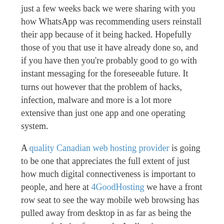just a few weeks back we were sharing with you how WhatsApp was recommending users reinstall their app because of it being hacked. Hopefully those of you that use it have already done so, and if you have then you're probably good to go with instant messaging for the foreseeable future. It turns out however that the problem of hacks, infection, malware and more is a lot more extensive than just one app and one operating system.
A quality Canadian web hosting provider is going to be one that appreciates the full extent of just how much digital connectiveness is important to people, and here at 4GoodHosting we have a front row seat to see the way mobile web browsing has pulled away from desktop in as far as being the means of choice for people. It all points to one well-understood reality; we're turning to our mobile devices for more and more of everything that we do during the day.
A good many of us (myself included) have Android phones, and that's why recent news from Quick Heal Security Labs is really undeniable when it comes to highlighting the extent of the cyber-attack problem for Android users in nor. And that is that apparently over 3 million malware were detected on Android OS in 2018.